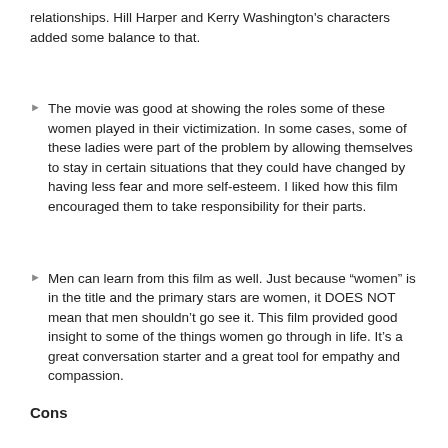relationships. Hill Harper and Kerry Washington's characters added some balance to that.
The movie was good at showing the roles some of these women played in their victimization. In some cases, some of these ladies were part of the problem by allowing themselves to stay in certain situations that they could have changed by having less fear and more self-esteem. I liked how this film encouraged them to take responsibility for their parts.
Men can learn from this film as well. Just because “women” is in the title and the primary stars are women, it DOES NOT mean that men shouldn’t go see it. This film provided good insight to some of the things women go through in life. It’s a great conversation starter and a great tool for empathy and compassion.
Cons